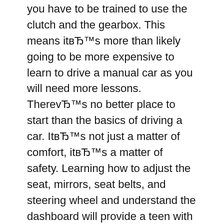you have to be trained to use the clutch and the gearbox. This means it’s more than likely going to be more expensive to learn to drive a manual car as you will need more lessons. There’s no better place to start than the basics of driving a car. It’s not just a matter of comfort, it’s a matter of safety. Learning how to adjust the seat, mirrors, seat belts, and steering wheel and understand the dashboard will provide a teen with a good understanding of driving basics.
We have provided you with 9 videos which we filmed during a mock test in order for you to view the exact manner in which you will be tested on the test day. Together with the videos we have provided you with instructional